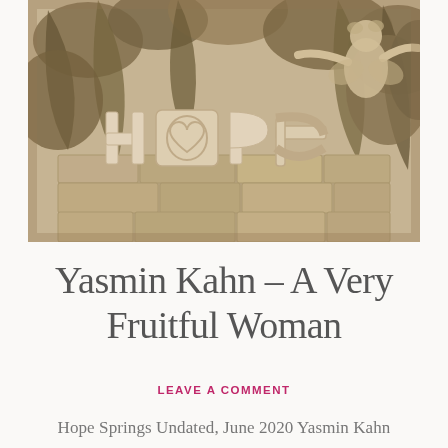[Figure (photo): Sepia-toned photograph of decorative 'HOPE' letters (with a heart replacing the O) arranged on a stone wall surrounded by lush garden foliage, with a cherub or angel statue visible in the upper right.]
Yasmin Kahn – A Very Fruitful Woman
LEAVE A COMMENT
Hope Springs Undated, June 2020 Yasmin Kahn